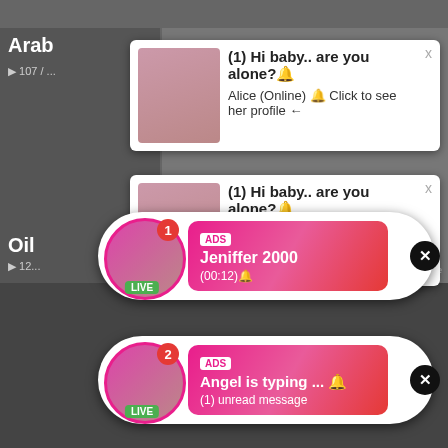[Figure (screenshot): Adult content website screenshot showing video thumbnails with 'Arab' and 'Oil' category labels]
(1) Hi baby.. are you alone? Alice (Online) Click to see her profile
(1) Hi baby.. are you alone? Alice (Online) Click to see her profile
ADS Jeniffer 2000 (00:12)
ADS Angel is typing ... (1) unread message